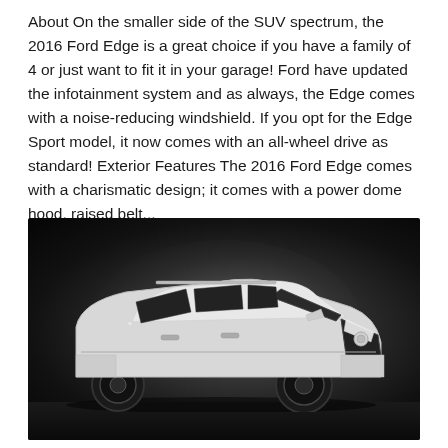About On the smaller side of the SUV spectrum, the 2016 Ford Edge is a great choice if you have a family of 4 or just want to fit it in your garage! Ford have updated the infotainment system and as always, the Edge comes with a noise-reducing windshield. If you opt for the Edge Sport model, it now comes with an all-wheel drive as standard! Exterior Features The 2016 Ford Edge comes with a charismatic design; it comes with a power dome hood, raised belt...
[Figure (photo): Black and white promotional photo of a large white SUV (appears to be a Nissan Armada or similar full-size SUV) shot from a front three-quarter angle on a dark studio background with dramatic lighting and floor reflection.]